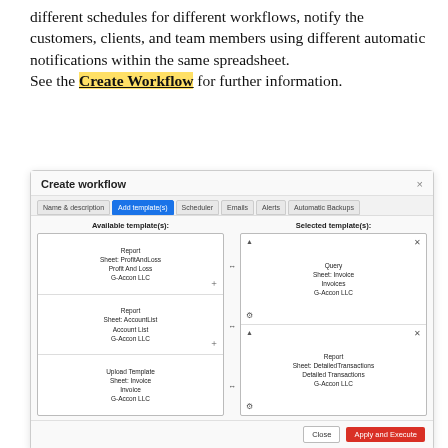different schedules for different workflows, notify the customers, clients, and team members using different automatic notifications within the same spreadsheet.
See the Create Workflow for further information.
[Figure (screenshot): A 'Create workflow' dialog box showing tab navigation (Name & description, Add template(s), Scheduler, Emails, Alerts, Automatic Backups), with two panels: Available template(s) listing Report/Sheet:ProfitAndLoss/Profit And Loss/G-Accon LLC, Report/Sheet:AccountList/Account List/G-Accon LLC, and Upload Template/Sheet:Invoice/Invoice/G-Accon LLC; and Selected template(s) listing Query/Sheet:Invoice/Invoices/G-Accon LLC and Report/Sheet:DetailedTransactions/Detailed Transactions/G-Accon LLC. Footer has Close and Apply and Execute buttons.]